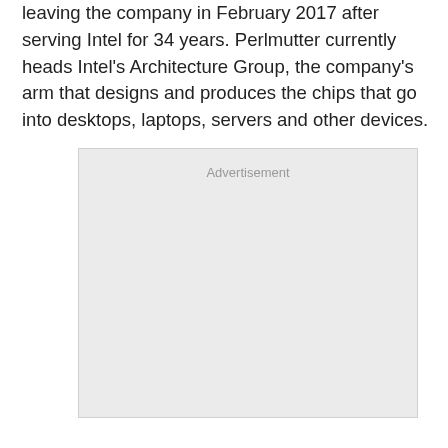leaving the company in February 2017 after serving Intel for 34 years. Perlmutter currently heads Intel's Architecture Group, the company's arm that designs and produces the chips that go into desktops, laptops, servers and other devices.
[Figure (other): Advertisement placeholder box with light gray background and 'Advertisement' label text centered near the top.]